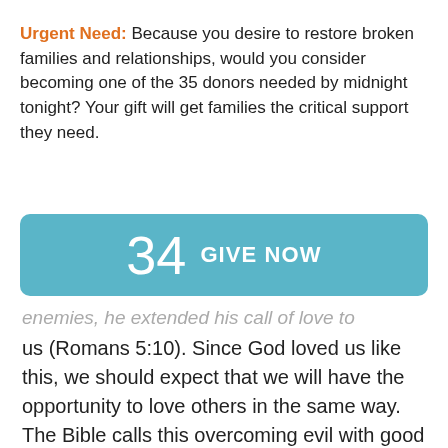×
Urgent Need: Because you desire to restore broken families and relationships, would you consider becoming one of the 35 donors needed by midnight tonight? Your gift will get families the critical support they need.
[Figure (other): Teal rounded button showing '34 GIVE NOW']
enemies, he extended his call of love to us (Romans 5:10). Since God loved us like this, we should expect that we will have the opportunity to love others in the same way. The Bible calls this overcoming evil with good (Romans 12:20).
Learn to disarm an angry person.